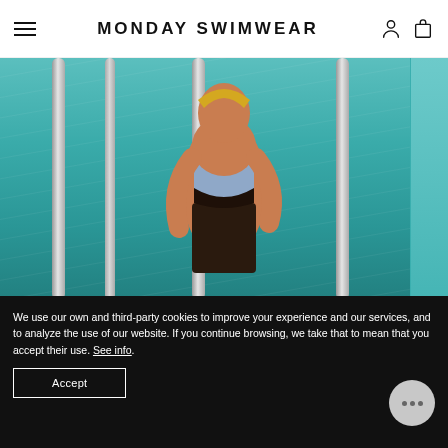MONDAY SWIMWEAR
[Figure (photo): Person wearing a blue and dark swimsuit standing at a pool ladder with teal/green pool water in the background, pool rails/bars visible]
THE FIT
We use our own and third-party cookies to improve your experience and our services, and to analyze the use of our website. If you continue browsing, we take that to mean that you accept their use. See info.
Accept